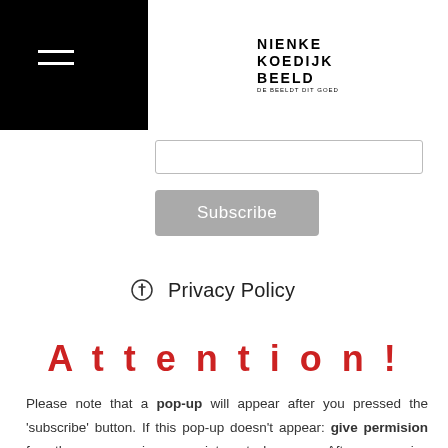NIENKE KOEDIJK BEELD
Subscribe
⊕  Privacy Policy
Attention!
Please note that a pop-up will appear after you pressed the 'subscribe' button. If this pop-up doesn't appear: give permision for the pop-up in your internet browser. After you give permission, you'll receive a welcome mail. You are NOT subscribed when you are